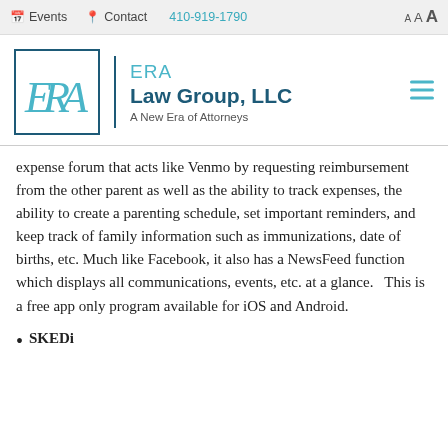Events  Contact  410-919-1790  A A A
[Figure (logo): ERA Law Group, LLC logo with ERA letters in teal inside a navy square border, followed by 'ERA Law Group, LLC - A New Era of Attorneys' text]
expense forum that acts like Venmo by requesting reimbursement from the other parent as well as the ability to track expenses, the ability to create a parenting schedule, set important reminders, and keep track of family information such as immunizations, date of births, etc. Much like Facebook, it also has a NewsFeed function which displays all communications, events, etc. at a glance.   This is a free app only program available for iOS and Android.
SKEDi